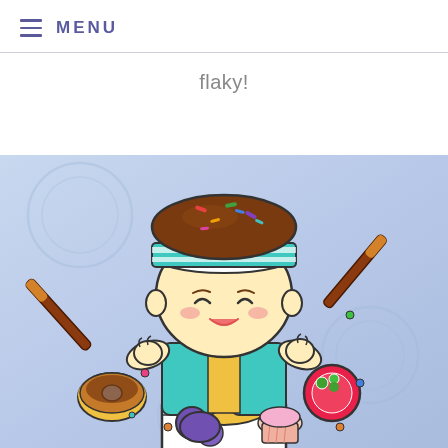MENU
flaky!
[Figure (illustration): Cartoon illustration of a cute chibi-style boy character with a chocolate cupcake/muffin hat with sprinkles, wearing a teal and yellow striped outfit, holding two Pocky sticks, surrounded by candy, a donut, a lollipop, and cupcake, emerging from a white box. Background is light blue/lavender with subtle circular patterns.]